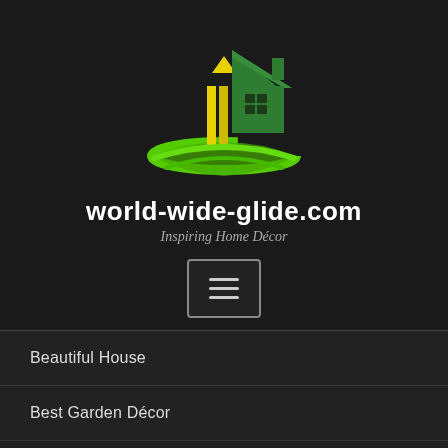[Figure (logo): House/home logo with green house shape, yellow and green vertical bars, and a green swoosh underneath]
world-wide-glide.com
Inspiring Home Décor
[Figure (other): Hamburger menu button with three horizontal lines inside a rounded rectangle border]
Beautiful House
Best Garden Décor
Build Garage
Construction